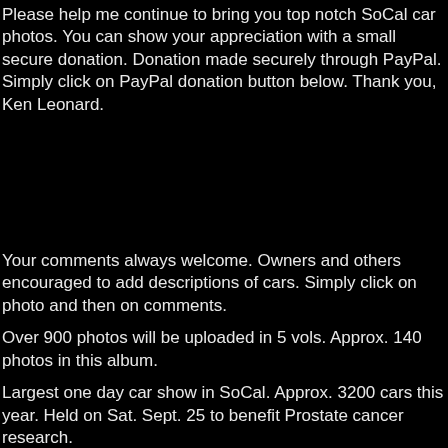Please help me continue to bring you top notch SoCal car photos. You can show your appreciation with a small secure donation. Donation made securely through PayPal. Simply click on PayPal donation button below. Thank you, Ken Leonard.
Your comments always welcome. Owners and others encouraged to add descriptions of cars. Simply click on photo and then on comments.
Over 900 photos will be uploaded in 5 vols. Approx. 140 photos in this album.
Largest one day car show in SoCal. Approx. 3200 cars this year. Held on Sat. Sept. 25 to benefit Prostate cancer research.